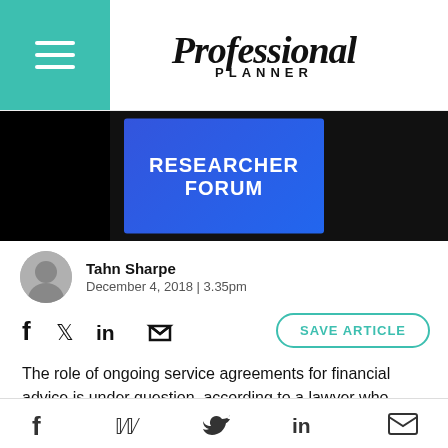Professional Planner
[Figure (photo): Hero banner with blue box showing 'RESEARCHER FORUM' text on dark background]
Tahn Sharpe
December 4, 2018 | 3.35pm
[Figure (infographic): Social sharing icons (Facebook, Twitter, LinkedIn, Share) and a 'SAVE ARTICLE' button]
The role of ongoing service agreements for financial advice is under question, according to a lawyer who specialises in financial services regulation.
According to Claire Wivell Plater, chair of The Fold
Facebook  Twitter  LinkedIn  Email